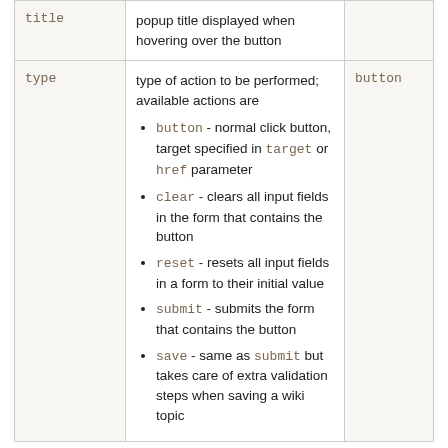| Parameter | Description | Default |
| --- | --- | --- |
| title | popup title displayed when hovering over the button |  |
| type | type of action to be performed; available actions are
• button - normal click button, target specified in target or href parameter
• clear - clears all input fields in the form that contains the button
• reset - resets all input fields in a form to their initial value
• submit - submits the form that contains the button
• save - same as submit but takes care of extra validation steps when saving a wiki topic | button |